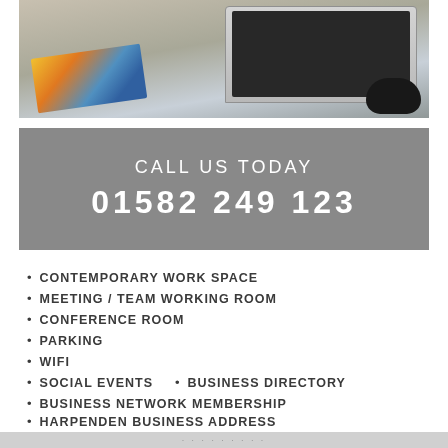[Figure (photo): Photo of a laptop, color swatches/brochures, and a computer mouse on a desk — top portion of a business services flyer]
CALL US TODAY
01582 249 123
CONTEMPORARY WORK SPACE
MEETING / TEAM WORKING ROOM
CONFERENCE ROOM
PARKING
WIFI
SOCIAL EVENTS
BUSINESS DIRECTORY
BUSINESS NETWORK MEMBERSHIP
HARPENDEN BUSINESS ADDRESS
5 MINS WALK TO THE STATION
25 MINS TRAIN TO ST PANCRAS